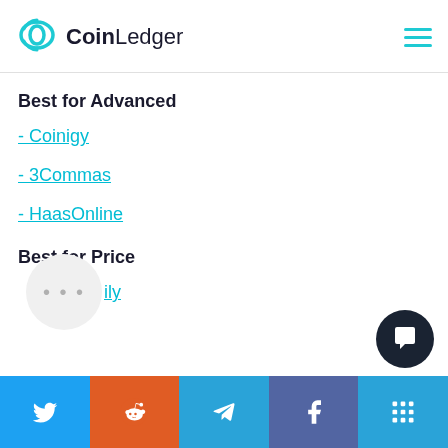CoinLedger
Best for Advanced
- Coinigy
- 3Commas
- HaasOnline
Best for Price
- …ily